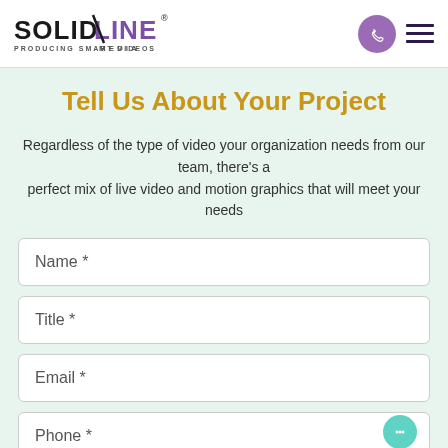[Figure (logo): Solid Line Media logo with tagline PRODUCING SMART VIDEOS]
Tell Us About Your Project
Regardless of the type of video your organization needs from our team, there’s a perfect mix of live video and motion graphics that will meet your needs
Name *
Title *
Email *
Phone *